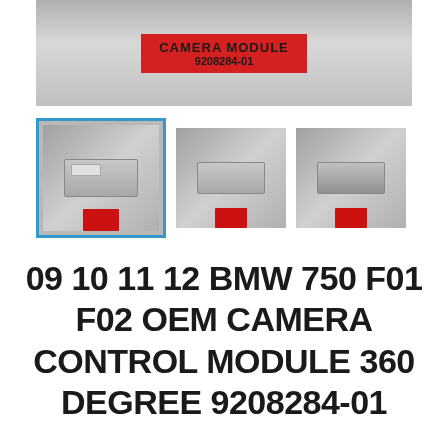[Figure (photo): Main product photo showing a red label card with handwritten text 'CAMERA MODULE' and '9208284-01' on a grey background]
[Figure (photo): Three thumbnail photos of a BMW camera control module unit shown from different angles, each with a red tag. The first thumbnail is selected with a blue border.]
09 10 11 12 BMW 750 F01 F02 OEM CAMERA CONTROL MODULE 360 DEGREE 9208284-01